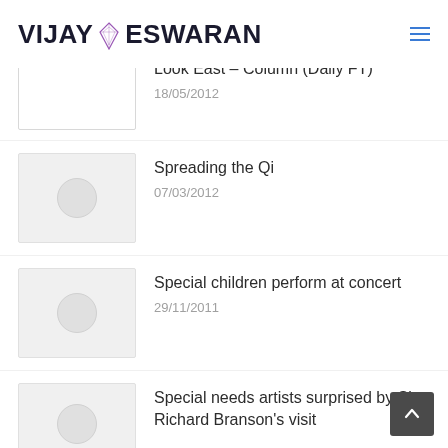VIJAY ESWARAN
Look East – Column (Daily FT)
18/05/2012
Spreading the Qi
07/03/2012
Special children perform at concert
29/11/2011
Special needs artists surprised by Sir Richard Branson's visit